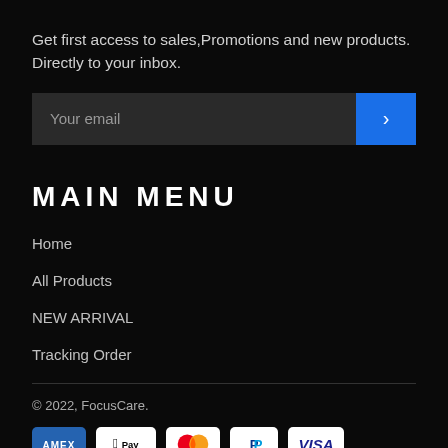Get first access to sales,Promotions and new products. Directly to your inbox.
[Figure (other): Email subscription input field with blue arrow submit button]
MAIN MENU
Home
All Products
NEW ARRIVAL
Tracking Order
© 2022, FocusCare.
[Figure (other): Payment icons: Amex, Apple Pay, Mastercard, PayPal, Visa]